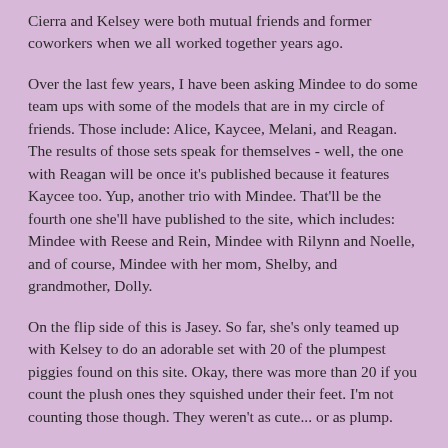Cierra and Kelsey were both mutual friends and former coworkers when we all worked together years ago.
Over the last few years, I have been asking Mindee to do some team ups with some of the models that are in my circle of friends. Those include: Alice, Kaycee, Melani, and Reagan. The results of those sets speak for themselves - well, the one with Reagan will be once it's published because it features Kaycee too. Yup, another trio with Mindee. That'll be the fourth one she'll have published to the site, which includes: Mindee with Reese and Rein, Mindee with Rilynn and Noelle, and of course, Mindee with her mom, Shelby, and grandmother, Dolly.
On the flip side of this is Jasey. So far, she's only teamed up with Kelsey to do an adorable set with 20 of the plumpest piggies found on this site. Okay, there was more than 20 if you count the plush ones they squished under their feet. I'm not counting those though. They weren't as cute... or as plump.
Over the last couple of years, Jasey and I have always talked about doing some more team up sets. She's wanted to shoot with Alice for the longest time, but we have yet to make that happen. It's